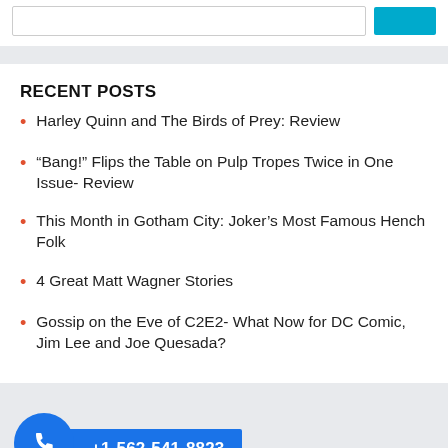RECENT POSTS
Harley Quinn and The Birds of Prey: Review
“Bang!” Flips the Table on Pulp Tropes Twice in One Issue- Review
This Month in Gotham City: Joker’s Most Famous Hench Folk
4 Great Matt Wagner Stories
Gossip on the Eve of C2E2- What Now for DC Comic, Jim Lee and Joe Quesada?
+1-562-541-8823